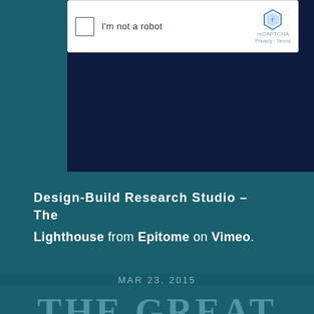[Figure (screenshot): reCAPTCHA widget with checkbox labeled 'I'm not a robot', reCAPTCHA logo, Privacy and Terms links, on a dark navy background]
Design-Build Research Studio – The Lighthouse from Epitome on Vimeo.
MAR 23, 2015
THE GREAT